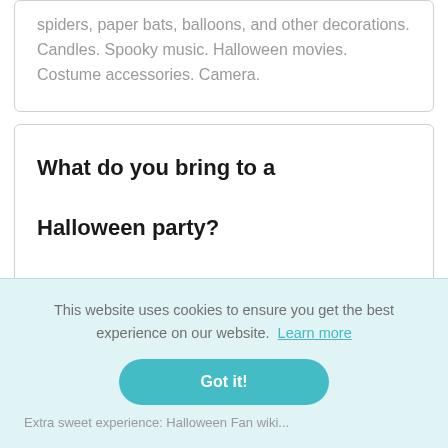spiders, paper bats, balloons, and other decorations. Candles. Spooky music. Halloween movies. Costume accessories. Camera.
What do you bring to a Halloween party?
This website uses cookies to ensure you get the best experience on our website. Learn more
Got it!